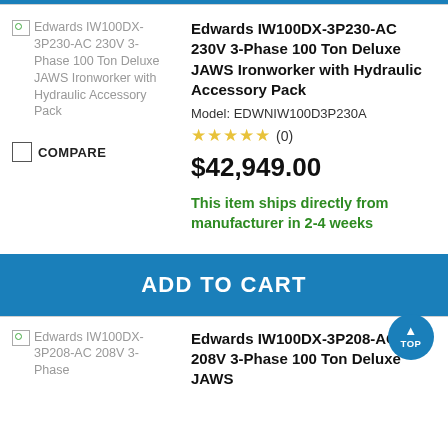[Figure (photo): Broken image placeholder for Edwards IW100DX-3P230-AC 230V 3-Phase 100 Ton Deluxe JAWS Ironworker with Hydraulic Accessory Pack]
COMPARE
Edwards IW100DX-3P230-AC 230V 3-Phase 100 Ton Deluxe JAWS Ironworker with Hydraulic Accessory Pack
Model: EDWNIW100D3P230A
☆☆☆☆☆ (0)
$42,949.00
This item ships directly from manufacturer in 2-4 weeks
ADD TO CART
[Figure (photo): Broken image placeholder for Edwards IW100DX-3P208-AC 208V 3-Phase 100 Ton Deluxe JAWS]
Edwards IW100DX-3P208-AC 208V 3-Phase 100 Ton Deluxe JAWS